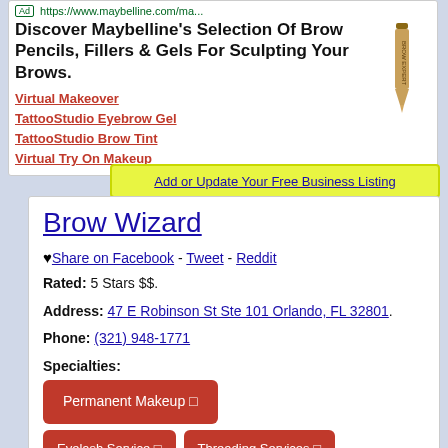[Figure (screenshot): Advertisement for Maybelline brow products with image of brow pencil]
Add or Update Your Free Business Listing
Brow Wizard
♥ Share on Facebook - Tweet - Reddit
Rated: 5 Stars $$.
Address: 47 E Robinson St Ste 101 Orlando, FL 32801.
Phone: (321) 948-1771
Specialties: Permanent Makeup 🔲 Eyelash Service 🔲 Threading Services 🔲.